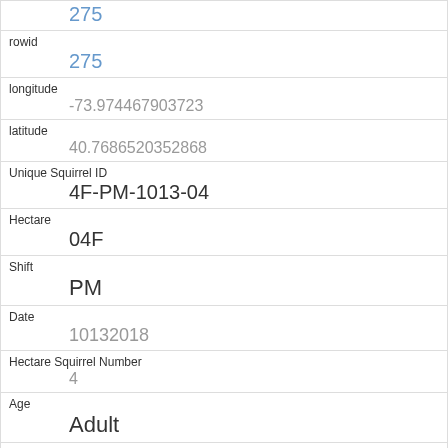| field | value |
| --- | --- |
| rowid | 275 |
| longitude | -73.974467903723 |
| latitude | 40.7686520352868 |
| Unique Squirrel ID | 4F-PM-1013-04 |
| Hectare | 04F |
| Shift | PM |
| Date | 10132018 |
| Hectare Squirrel Number | 4 |
| Age | Adult |
| Primary Fur Color | Gray |